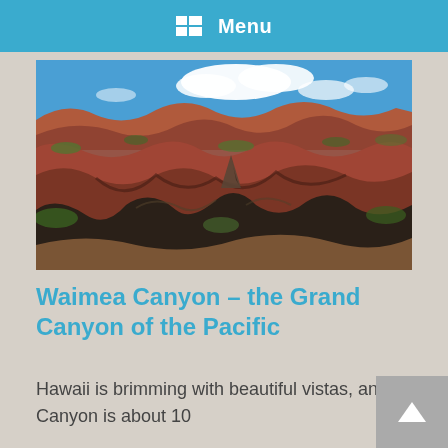Menu
[Figure (photo): Aerial panoramic view of Waimea Canyon, Kauai, Hawaii, showing layered red and brown canyon walls with green vegetation and blue sky with clouds.]
Waimea Canyon – the Grand Canyon of the Pacific
Hawaii is brimming with beautiful vistas, and Waimea Canyon is definitely one of those stellar views! Waimea Canyon is about 10